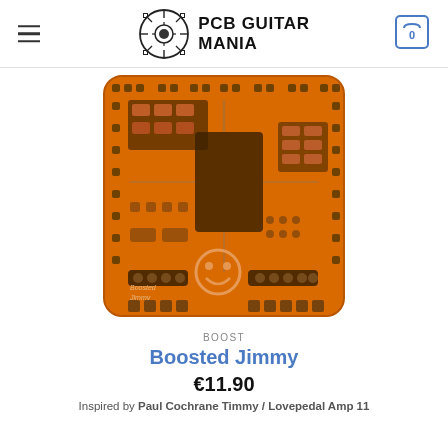PCB GUITAR MANIA
[Figure (photo): Orange PCB circuit board for the Boosted Jimmy guitar pedal, showing component layout with solder pads, resistors, capacitors, and a smiley face logo. Text on board reads 'Boosted Jimmy'.]
BOOST
Boosted Jimmy
€11.90
Inspired by Paul Cochrane Timmy / Lovepedal Amp 11